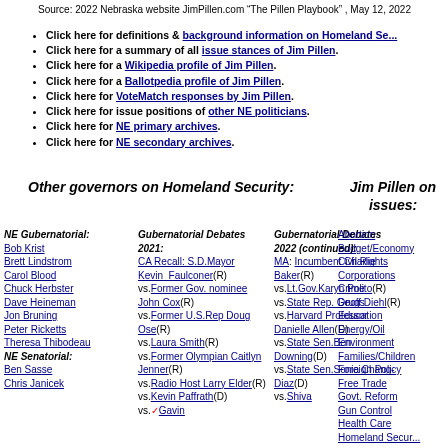Source: 2022 Nebraska website JimPillen.com "The Pillen Playbook", May 12, 2022
Click here for definitions & background information on Homeland Se...
Click here for a summary of all issue stances of Jim Pillen.
Click here for a Wikipedia profile of Jim Pillen.
Click here for a Ballotpedia profile of Jim Pillen.
Click here for VoteMatch responses by Jim Pillen.
Click here for issue positions of other NE politicians.
Click here for NE primary archives.
Click here for NE secondary archives.
Other governors on Homeland Security:
Jim Pillen on issues:
NE Gubernatorial: Bob Krist Brett Lindstrom Carol Blood Chuck Herbster Dave Heineman Jon Bruning Peter Ricketts Theresa Thibodeau NE Senatorial: Ben Sasse Chris Janicek
Gubernatorial Debates 2021: CA Recall: S.D.Mayor Kevin_Faulconer(R) vs.Former Gov. nominee John Cox(R) vs.Former U.S.Rep Doug Ose(R) vs.Laura Smith(R) vs.Former Olympian Caitlyn Jenner(R) vs.Radio Host Larry Elder(R) vs.Kevin Paffrath(D) vs.Gavin
Gubernatorial Debates 2022 (continued): MA: Incumbent Charlie Baker(R) vs.Lt.Gov.Karyn Polito(R) vs.State Rep. Geoff Diehl(R) vs.Harvard Professor Danielle Allen(D) vs.State Sen.Ben Downing(D) vs.State Sen.Sonia Chang-Diaz(D) vs.Shiva
Abortion Budget/Economy Civil Rights Corporations Crime Drugs Education Energy/Oil Environment Families/Children Foreign Policy Free Trade Govt. Reform Gun Control Health Care Homeland Secur...